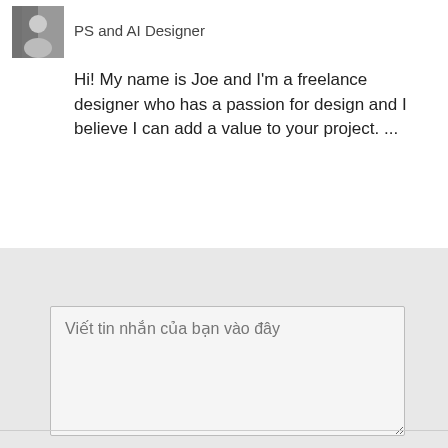[Figure (photo): Small black and white profile photo avatar in top-left corner]
PS and AI Designer
Hi! My name is Joe and I'm a freelance designer who has a passion for design and I believe I can add a value to your project. ...
[Figure (screenshot): Gray input area section with a text area field containing placeholder text 'Viết tin nhắn của bạn vào đây']
Viết tin nhắn của bạn vào đây